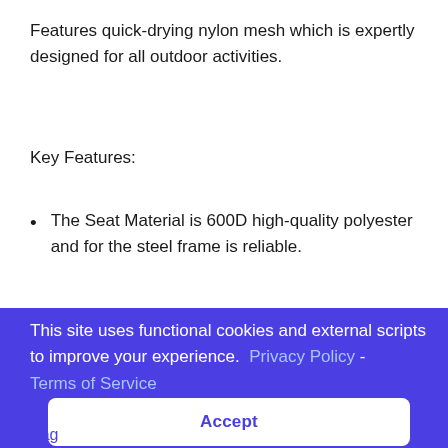Features quick-drying nylon mesh which is expertly designed for all outdoor activities.
Key Features:
The Seat Material is 600D high-quality polyester and for the steel frame is reliable.
For your convenience, it comes with storage
This site uses functional cookies and external scripts to improve your experience. Privacy Policy - Terms of Service
Accept
Bag